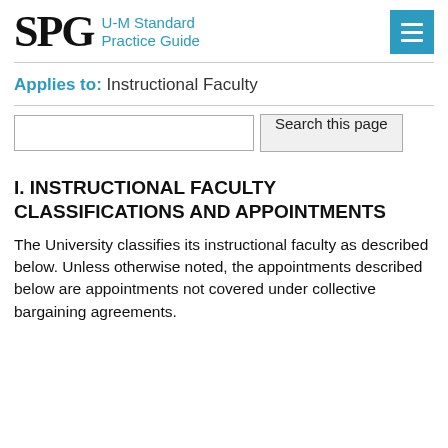SPG U-M Standard Practice Guide
Applies to: Instructional Faculty
Search this page
I. INSTRUCTIONAL FACULTY CLASSIFICATIONS AND APPOINTMENTS
The University classifies its instructional faculty as described below. Unless otherwise noted, the appointments described below are appointments not covered under collective bargaining agreements.